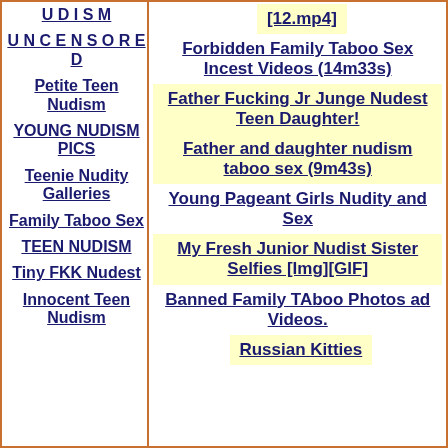UDISM
UNCENSORED
Petite Teen Nudism
YOUNG NUDISM PICS
Teenie Nudity Galleries
Family Taboo Sex
TEEN NUDISM
Tiny FKK Nudest
Innocent Teen Nudism
[12.mp4]
Forbidden Family Taboo Sex Incest Videos (14m33s)
Father Fucking Jr Junge Nudest Teen Daughter!
Father and daughter nudism taboo sex (9m43s)
Young Pageant Girls Nudity and Sex
My Fresh Junior Nudist Sister Selfies [Img][GIF]
Banned Family TAboo Photos ad Videos.
Russian  Kitties